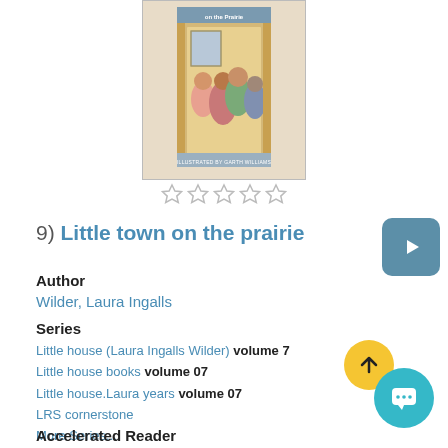[Figure (illustration): Book cover of 'Little Town on the Prairie' illustrated by Garth Williams, showing girls in period dress at a doorway]
[Figure (other): Five empty star rating icons]
9) Little town on the prairie
Author
Wilder, Laura Ingalls
Series
Little house (Laura Ingalls Wilder) volume 7
Little house books volume 07
Little house.Laura years volume 07
LRS cornerstone
More Series...
Accelerated Reader